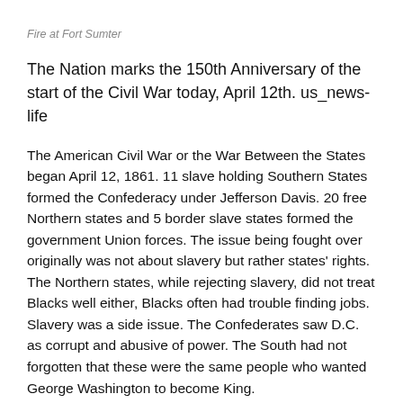Fire at Fort Sumter
The Nation marks the 150th Anniversary of the start of the Civil War today, April 12th. us_news-life
The American Civil War or the War Between the States began April 12, 1861. 11 slave holding Southern States formed the Confederacy under Jefferson Davis. 20 free Northern states and 5 border slave states formed the government Union forces. The issue being fought over originally was not about slavery but rather states' rights. The Northern states, while rejecting slavery, did not treat Blacks well either, Blacks often had trouble finding jobs. Slavery was a side issue. The Confederates saw D.C. as corrupt and abusive of power. The South had not forgotten that these were the same people who wanted George Washington to become King.